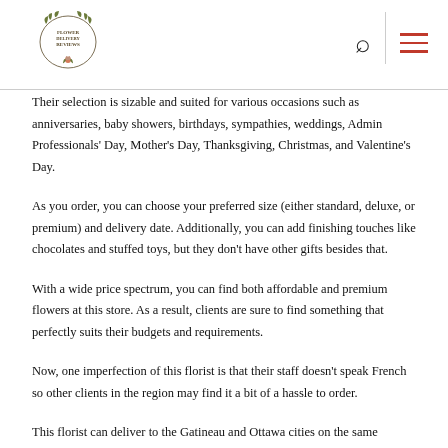Flower Delivery Reviews [logo] [search] [menu]
Their selection is sizable and suited for various occasions such as anniversaries, baby showers, birthdays, sympathies, weddings, Admin Professionals' Day, Mother's Day, Thanksgiving, Christmas, and Valentine's Day.
As you order, you can choose your preferred size (either standard, deluxe, or premium) and delivery date. Additionally, you can add finishing touches like chocolates and stuffed toys, but they don't have other gifts besides that.
With a wide price spectrum, you can find both affordable and premium flowers at this store. As a result, clients are sure to find something that perfectly suits their budgets and requirements.
Now, one imperfection of this florist is that their staff doesn't speak French so other clients in the region may find it a bit of a hassle to order.
This florist can deliver to the Gatineau and Ottawa cities on the same